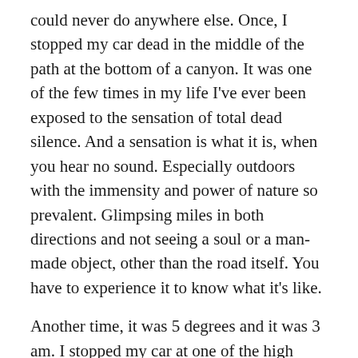could never do anywhere else.  Once, I stopped my car dead in the middle of the path at the bottom of a canyon.  It was one of the few times in my life I've ever been exposed to the sensation of total dead silence.  And a sensation is what it is, when you hear no sound.  Especially outdoors with the immensity and power of nature so prevalent.  Glimpsing miles in both directions and not seeing a soul or a man-made object, other than the road itself.  You have to experience it to know what it's like.
Another time, it was 5 degrees and it was 3 am.  I stopped my car at one of the high mountain passes, which reached close to 7,500 feet.  With absolutely no lights on the horizon, and surrounded by pristine air, the explosion of stars up in the sky was mind-boggling.  Until that moment, I have not really seen a true sky or been exposed to stars.  Indeed, you must gaze into the heavens on a cold dark night, miles from civilization at a